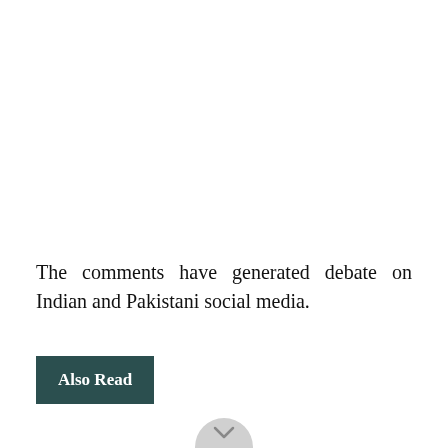The comments have generated debate on Indian and Pakistani social media.
Also Read